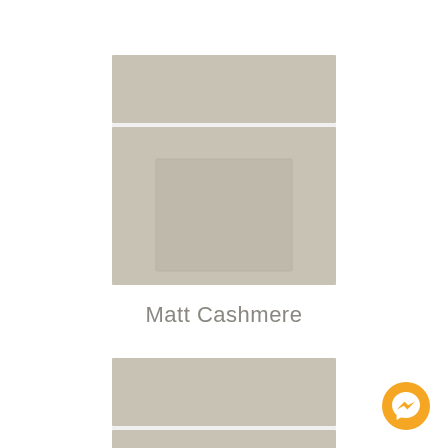[Figure (illustration): Two kitchen cabinet door samples shown in Matt Cashmere color. Top sample shows a full cabinet door with a drawer on top and a recessed panel door below featuring a centered rectangular inset panel. Bottom sample shows a partial view of a similar cabinet door configuration in the same cashmere/warm gray color.]
Matt Cashmere
[Figure (logo): Facebook Messenger icon - a yellow/gold circular button with white messenger lightning bolt chat icon inside]